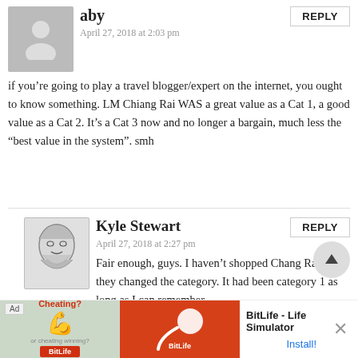aby
April 27, 2018 at 2:03 pm
if you're going to play a travel blogger/expert on the internet, you ought to know something. LM Chiang Rai WAS a great value as a Cat 1, a good value as a Cat 2. It's a Cat 3 now and no longer a bargain, much less the “best value in the system”. smh
Kyle Stewart
April 27, 2018 at 2:27 pm
Fair enough, guys. I haven't shopped Chang Rai since they changed the category. It had been category 1 as long as I can remember.
Joseph May
April 27, 2018 at 11:13 am
[Figure (infographic): Ad banner for BitLife - Life Simulator app with install button]